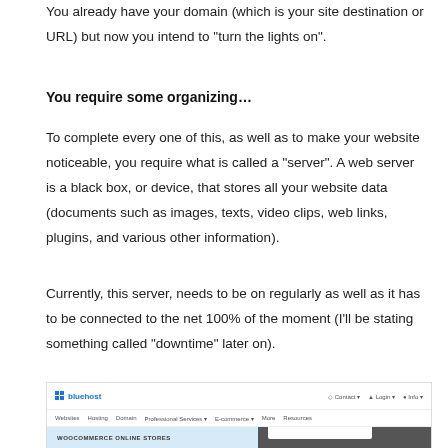You already have your domain (which is your site destination or URL) but now you intend to “turn the lights on”.
You require some organizing…
To complete every one of this, as well as to make your website noticeable, you require what is called a “server”. A web server is a black box, or device, that stores all your website data (documents such as images, texts, video clips, web links, plugins, and various other information).
Currently, this server, needs to be on regularly as well as it has to be connected to the net 100% of the moment (I’ll be stating something called “downtime” later on).
[Figure (screenshot): Screenshot of the Bluehost website homepage showing the Bluehost logo, navigation bar, and a split hero image with a light blue left panel labeled 'WooCommerce Online Stores' and a dark right panel showing a person from behind.]